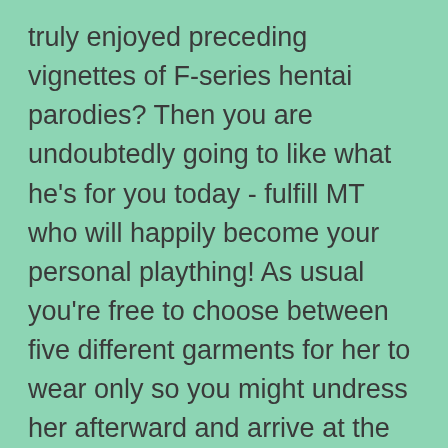truly enjoyed preceding vignettes of F-series hentai parodies? Then you are undoubtedly going to like what he's for you today - fulfill MT who will happily become your personal plaything! As usual you're free to choose between five different garments for her to wear only so you might undress her afterward and arrive at the joy activities involving hefty fuck stick and her curvy assets ofcourse! Notice that each apparel goes together with it is own set of activities and positions so make certain you will attempt all of them in order to find conclude experience together with MT. Control